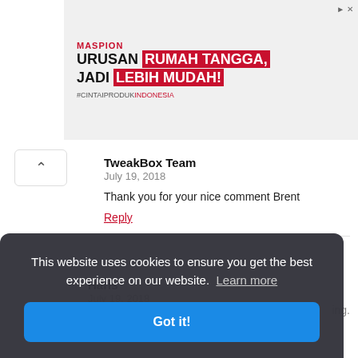[Figure (screenshot): Advertisement banner for Maspion brand with text 'URUSAN RUMAH TANGGA, JADI LEBIH MUDAH!' and hashtag #CINTAIPRODUK INDONESIA with household appliance images]
TweakBox Team
July 19, 2018

Thank you for your nice comment Brent

Reply
Haris
July 19, 2018

I do need help thank you it's very confusing
This website uses cookies to ensure you get the best experience on our website. Learn more
Got it!